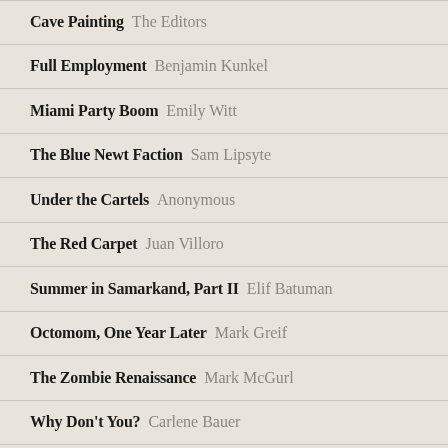Cave Painting The Editors
Full Employment Benjamin Kunkel
Miami Party Boom Emily Witt
The Blue Newt Faction Sam Lipsyte
Under the Cartels Anonymous
The Red Carpet Juan Villoro
Summer in Samarkand, Part II Elif Batuman
Octomom, One Year Later Mark Greif
The Zombie Renaissance Mark McGurl
Why Don't You? Carlene Bauer